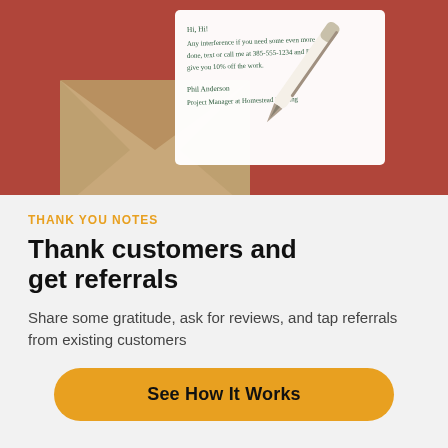[Figure (illustration): Illustration of a handwritten thank-you note on white paper with a fountain pen, placed on a reddish-brown background with a kraft envelope partially visible. The note contains handwritten text including a message, a discount offer, and signed by 'Phil Anderson, Project Manager at Homestead Roofing'.]
THANK YOU NOTES
Thank customers and get referrals
Share some gratitude, ask for reviews, and tap referrals from existing customers
See How It Works